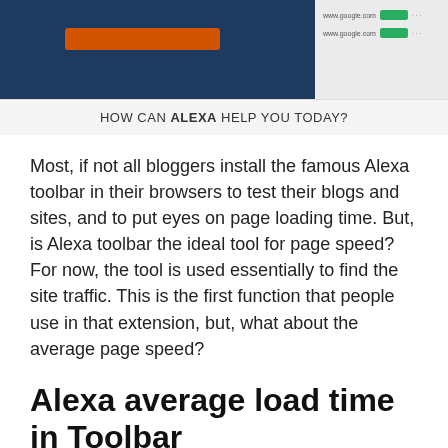[Figure (screenshot): Screenshot showing a browser toolbar interface with an orange button on the left panel and green status indicators on the right panel, along with an Alexa banner reading HOW CAN ALEXA HELP YOU TODAY?]
Most, if not all bloggers install the famous Alexa toolbar in their browsers to test their blogs and sites, and to put eyes on page loading time. But, is Alexa toolbar the ideal tool for page speed? For now, the tool is used essentially to find the site traffic. This is the first function that people use in that extension, but, what about the average page speed?
Alexa average load time in Toolbar
If you test your blog speed with one of the popular tools like Google Page Speed Insight